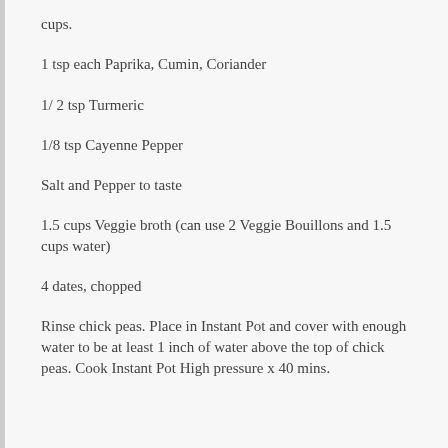cups.
1 tsp each Paprika, Cumin, Coriander
1/ 2 tsp Turmeric
1/8 tsp Cayenne Pepper
Salt and Pepper to taste
1.5 cups Veggie broth (can use 2 Veggie Bouillons and 1.5 cups water)
4 dates, chopped
Rinse chick peas. Place in Instant Pot and cover with enough water to be at least 1 inch of water above the top of chick peas. Cook Instant Pot High pressure x 40 mins.